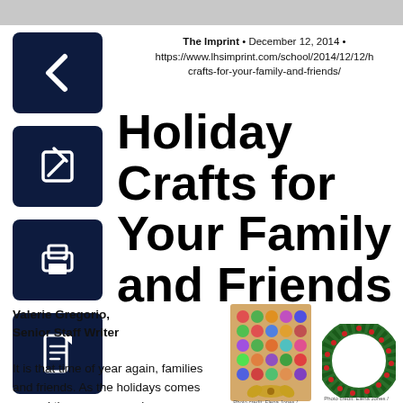The Imprint • December 12, 2014 • https://www.lhsimprint.com/school/2014/12/12/h crafts-for-your-family-and-friends/
[Figure (illustration): Back arrow icon button (dark navy square with white left arrow)]
[Figure (illustration): Edit/pencil icon button (dark navy square with white pencil/edit icon)]
[Figure (illustration): Print icon button (dark navy square with white printer icon)]
[Figure (illustration): PDF/document icon button (dark navy square with white document icon)]
Holiday Crafts for Your Family and Friends
Valerie Gregorio, Senior Staff Writer
It is that time of year again, families and friends. As the holidays comes around the corner, people
[Figure (photo): Photo of a holiday craft — appears to be a decorative advent calendar board with colorful dots and a bow, with a small caption below]
[Figure (photo): Photo of a green Christmas wreath with small red berries/decorations, with a small caption below]